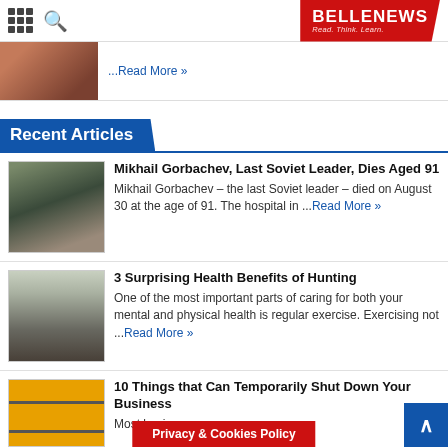BELLENEWS Read. Think. Learn.
...Read More »
Recent Articles
Mikhail Gorbachev, Last Soviet Leader, Dies Aged 91
Mikhail Gorbachev – the last Soviet leader – died on August 30 at the age of 91. The hospital in ...Read More »
3 Surprising Health Benefits of Hunting
One of the most important parts of caring for both your mental and physical health is regular exercise. Exercising not ...Read More »
10 Things that Can Temporarily Shut Down Your Business
Most businesses ... temporary
Privacy & Cookies Policy